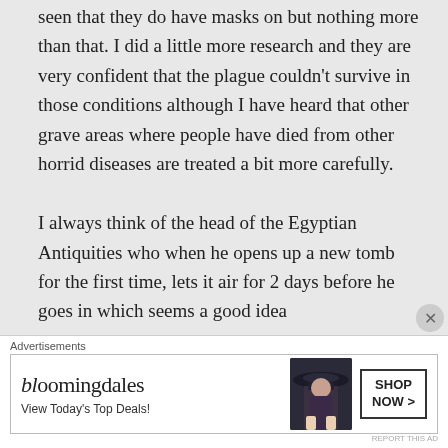I was wondering the same thing. I have seen that they do have masks on but nothing more than that. I did a little more research and they are very confident that the plague couldn't survive in those conditions although I have heard that other grave areas where people have died from other horrid diseases are treated a bit more carefully.

I always think of the head of the Egyptian Antiquities who when he opens up a new tomb for the first time, lets it air for 2 days before he goes in which seems a good idea
Advertisements
[Figure (other): Bloomingdale's advertisement banner with logo, tagline 'View Today's Top Deals!', image of woman in hat, and 'SHOP NOW >' button]